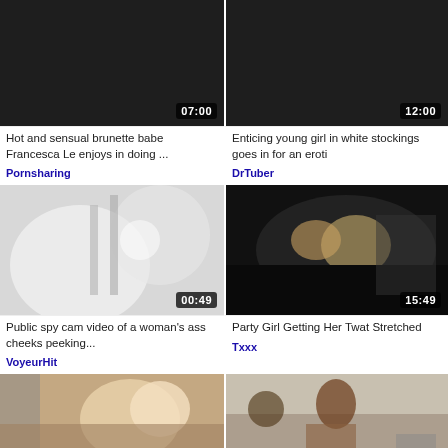[Figure (screenshot): Dark/black video thumbnail with duration 07:00]
[Figure (screenshot): Dark/black video thumbnail with duration 12:00]
Hot and sensual brunette babe Francesca Le enjoys in doing ...
Pornsharing
Enticing young girl in white stockings goes in for an eroti
DrTuber
[Figure (screenshot): Voyeur/spy cam video thumbnail showing blurry indoor scene, duration 00:49]
[Figure (screenshot): Party scene video thumbnail showing people, duration 15:49]
Public spy cam video of a woman's ass cheeks peeking...
VoyeurHit
Party Girl Getting Her Twat Stretched
Txxx
[Figure (screenshot): Video thumbnail showing blonde woman and man]
[Figure (screenshot): Video thumbnail showing woman in red near table with decorative bird]